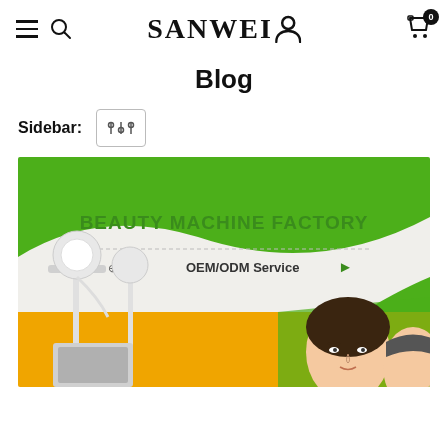SANWEI — navigation header with hamburger menu, search, logo, person icon, cart (0)
Blog
Sidebar:
[Figure (screenshot): Beauty Machine Factory promotional banner with green and gold colors, showing medical/beauty machines and people, OEM/ODM Service text with certification logos (CE, etc.)]